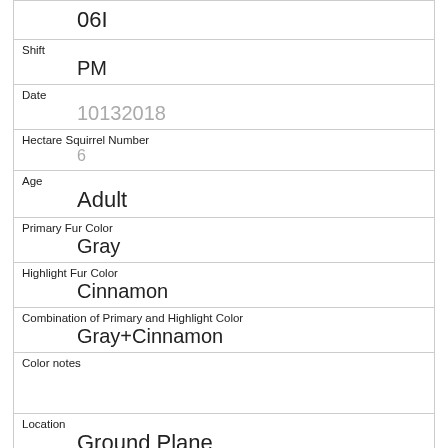| 06I |
| Shift | PM |
| Date | 10132018 |
| Hectare Squirrel Number | 6 |
| Age | Adult |
| Primary Fur Color | Gray |
| Highlight Fur Color | Cinnamon |
| Combination of Primary and Highlight Color | Gray+Cinnamon |
| Color notes |  |
| Location | Ground Plane |
| Above Ground Sighter Measurement |  |